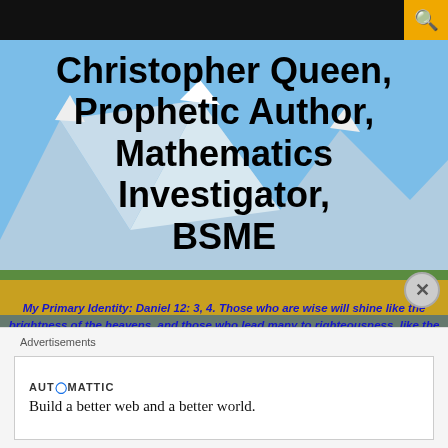Christopher Queen, Prophetic Author, Mathematics Investigator, BSME
Christopher Queen, Prophetic Author, Mathematics Investigator, BSME
My Primary Identity: Daniel 12: 3, 4. Those who are wise will shine like the brightness of the heavens, and those who lead many to righteousness, like the stars for ever and ever. 4 But you, Daniel, roll up and seal the words of the scroll until the time of the end. Many will go here and there to increase knowledge." Also SHORT STORY WRITER, SINGER SONGWRITER, SOJOURNER.
Advertisements
[Figure (other): Automattic advertisement: Build a better web and a better world.]